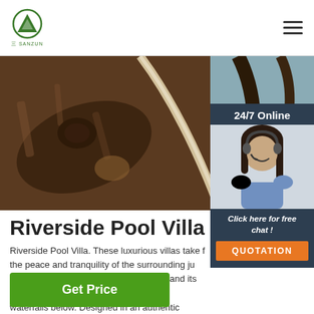[Figure (logo): Sanzun company logo — green triangle/mountain icon with Chinese characters below]
[Figure (photo): Close-up macro photo of tree bark / branch texture with a feather or quill in the background, blueish bokeh]
[Figure (photo): 24/7 Online chat widget with photo of smiling woman with headset, dark navy background, orange QUOTATION button]
Riverside Pool Villa
Riverside Pool Villa. These luxurious villas take f... the peace and tranquility of the surrounding ju... with the rhythmic sound of Ayung River and its cascading waterfalls below. Designed in an authentic Balinese style Riverside Villas are perched high on wooden pillars. Th... expensive decks feature a private ...
Get Price